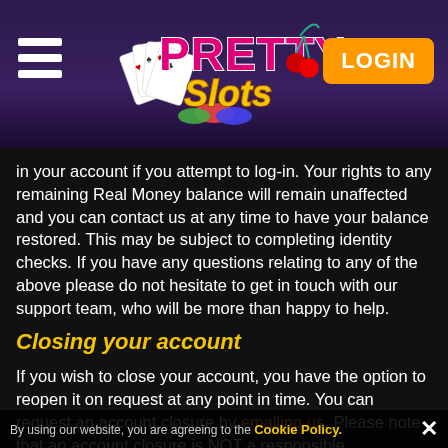[Figure (logo): Pretty Slots casino logo with playing cards, poker chips, and cherries, on purple background. Hamburger menu icon on left, LOGIN button on right.]
in your account if you attempt to log-in. Your rights to any remaining Real Money balance will remain unaffected and you can contact us at any time to have your balance restored. This may be subject to completing identity checks. If you have any questions relating to any of the above please do not hesitate to get in touch with our support team, who will be more than happy to help.
Closing your account
If you wish to close your account, you have the option to reopen it on request at any point in time. You can request an account closure by emailing us. Please note that an account closure is NOT a responsible
By using our website, you are agreeing to the Cookie Policy.